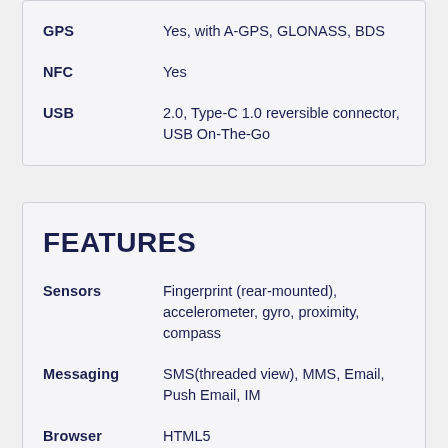| Feature | Value |
| --- | --- |
| GPS | Yes, with A-GPS, GLONASS, BDS |
| NFC | Yes |
| USB | 2.0, Type-C 1.0 reversible connector, USB On-The-Go |
FEATURES
| Feature | Value |
| --- | --- |
| Sensors | Fingerprint (rear-mounted), accelerometer, gyro, proximity, compass |
| Messaging | SMS(threaded view), MMS, Email, Push Email, IM |
| Browser | HTML5
– Fast battery charging 9V/2A 18W
– MP4/H.264 player
– MP3/WAV/AAC/FLAC... |